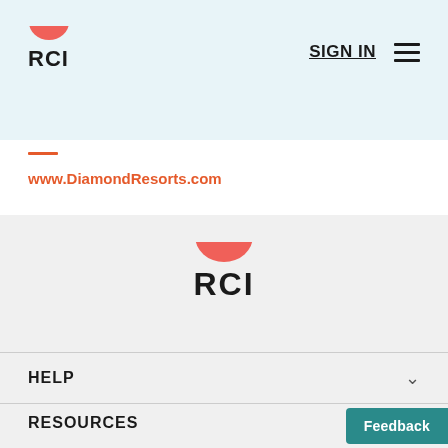RCI — SIGN IN navigation header
www.DiamondResorts.com
[Figure (logo): RCI logo centered: red half-circle bowl above bold black text RCI]
HELP
RESOURCES
Feedback